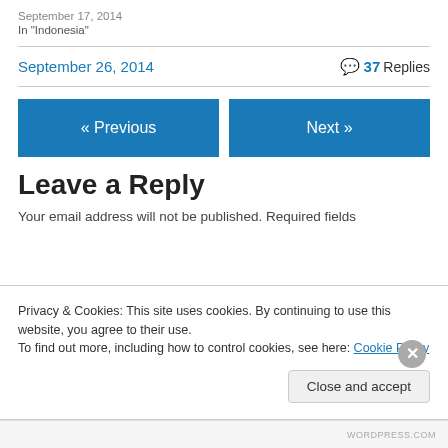September 17, 2014
In "Indonesia"
September 26, 2014   💬 37 Replies
« Previous
Next »
Leave a Reply
Your email address will not be published. Required fields
Privacy & Cookies: This site uses cookies. By continuing to use this website, you agree to their use.
To find out more, including how to control cookies, see here: Cookie Policy
Close and accept